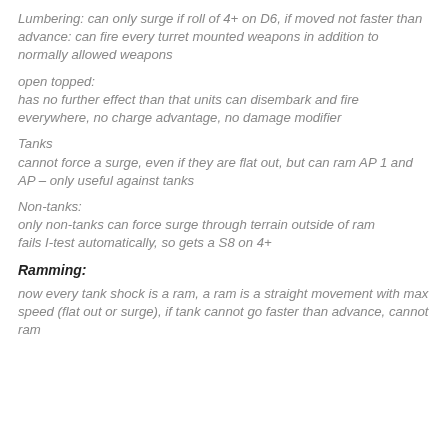Lumbering: can only surge if roll of 4+ on D6, if moved not faster than advance: can fire every turret mounted weapons in addition to normally allowed weapons
open topped:
has no further effect than that units can disembark and fire everywhere, no charge advantage, no damage modifier
Tanks
cannot force a surge, even if they are flat out, but can ram AP 1 and AP – only useful against tanks
Non-tanks:
only non-tanks can force surge through terrain outside of ram
fails I-test automatically, so gets a S8 on 4+
Ramming:
now every tank shock is a ram, a ram is a straight movement with max speed (flat out or surge), if tank cannot go faster than advance, cannot ram